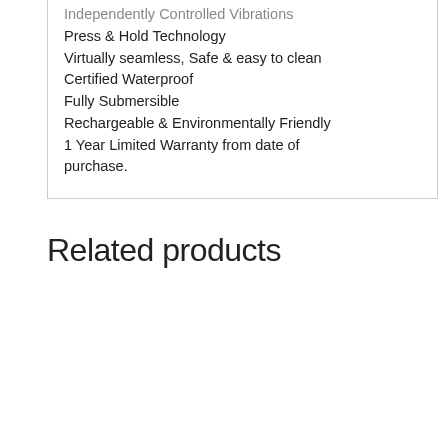Independently Controlled Vibrations
Press & Hold Technology
Virtually seamless, Safe & easy to clean
Certified Waterproof
Fully Submersible
Rechargeable & Environmentally Friendly
1 Year Limited Warranty from date of purchase.
Related products